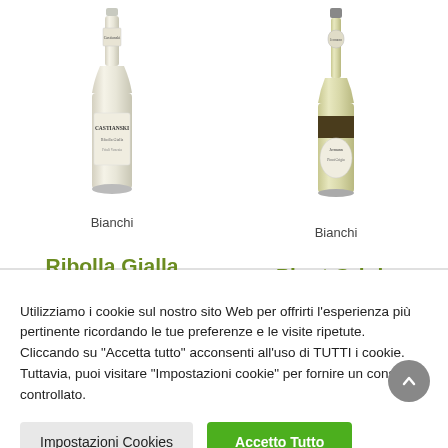[Figure (photo): White wine bottle with Castianski label on left side]
[Figure (photo): White wine bottle with Jermann label on right side]
Bianchi
Ribolla Gialla
Bianchi
Pinot Grigio
Utilizziamo i cookie sul nostro sito Web per offrirti l'esperienza più pertinente ricordando le tue preferenze e le visite ripetute. Cliccando su "Accetta tutto" acconsenti all'uso di TUTTI i cookie. Tuttavia, puoi visitare "Impostazioni cookie" per fornire un consenso controllato.
Impostazioni Cookies
Accetto Tutto